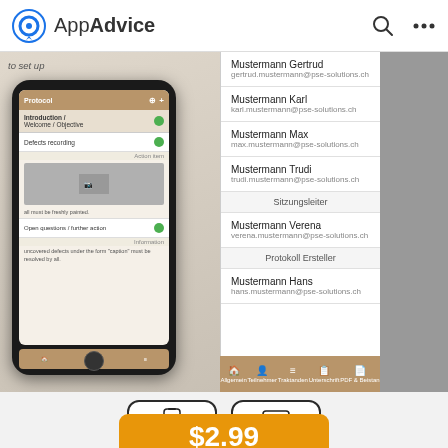AppAdvice
[Figure (screenshot): AppAdvice website screenshot showing an app listing page with a phone mockup on the left displaying a protocol/meeting app, and a contact list on the right with entries: Mustermann Gertrud (gertrud.mustermann@pse-solutions.ch), Mustermann Karl (karl.mustermann@pse-solutions.ch), Mustermann Max (max.mustermann@pse-solutions.ch), Mustermann Trudi (trudi.mustermann@pse-solutions.ch), Sitzungsleiter label, Mustermann Verena (verena.mustermann@pse-solutions.ch), Protokoll Ersteller label, Mustermann Hans (hans.mustermann@pse-solutions.ch). Below the screenshot are iPhone and iPad device badges. At the bottom is a gold/orange price button showing $2.99.]